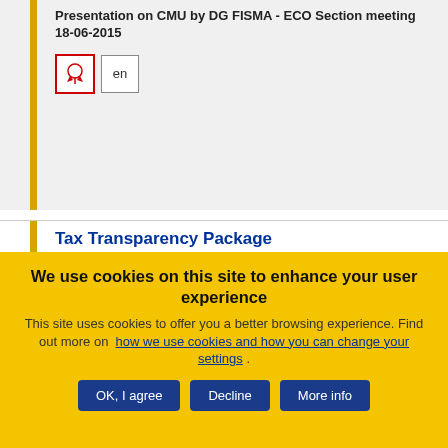Presentation on CMU by DG FISMA - ECO Section meeting 18-06-2015
[Figure (other): PDF icon (red border with Acrobat logo) and 'en' language button]
Tax Transparency Package
Opinion
Vedtaget on 27/05/2015
Reference: ECO/381-EESC-2015-01828-00-00-AC-TRA
Referral: ê COM(2015) 135 final - 2015/0068 (CNS) - ê
We use cookies on this site to enhance your user experience
This site uses cookies to offer you a better browsing experience. Find out more on how we use cookies and how you can change your settings .
OK, I agree
Decline
More info